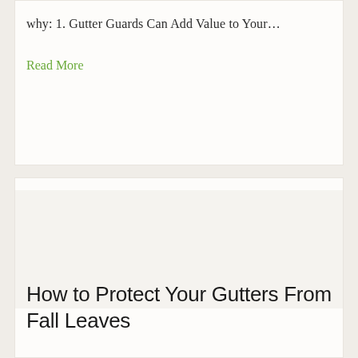why: 1. Gutter Guards Can Add Value to Your…
Read More
[Figure (photo): Image placeholder area for article about protecting gutters from fall leaves]
How to Protect Your Gutters From Fall Leaves